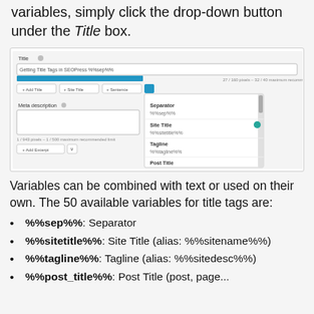variables, simply click the drop-down button under the Title box.
[Figure (screenshot): Screenshot of SEOPress Title tag editor showing a dropdown with variables: Separator (%%sep%%), Site Title (%%sitetitle%%), Tagline (%%tagline%%), Post Title (%%post_title%%)]
Variables can be combined with text or used on their own. The 50 available variables for title tags are:
%%sep%%: Separator
%%sitetitle%%: Site Title (alias: %%sitename%%)
%%tagline%%: Tagline (alias: %%sitedesc%%)
%%post_title%%: Post Title (post, page...